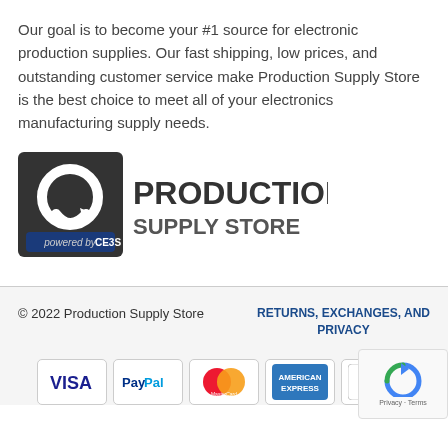Our goal is to become your #1 source for electronic production supplies. Our fast shipping, low prices, and outstanding customer service make Production Supply Store is the best choice to meet all of your electronics manufacturing supply needs.
[Figure (logo): Production Supply Store logo with arrow/circle icon, bold text 'PRODUCTION SUPPLY STORE' and tagline 'powered by CE3S' on a dark blue banner]
© 2022 Production Supply Store
RETURNS, EXCHANGES, AND PRIVACY
[Figure (other): Payment method icons: VISA, PayPal, MasterCard, American Express, Discover]